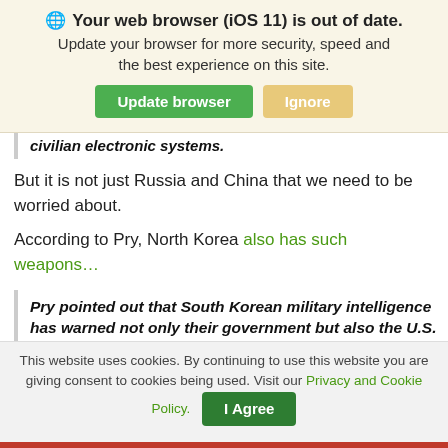[Figure (screenshot): Browser update notification banner with globe icon, bold title 'Your web browser (iOS 11) is out of date.', subtitle text, and two buttons: 'Update browser' (green) and 'Ignore' (tan/yellow).]
civilian electronic systems.
But it is not just Russia and China that we need to be worried about.
According to Pry, North Korea also has such weapons…
Pry pointed out that South Korean military intelligence has warned not only their government but also the U.S. that North Korea is developing super-EMP warheads with
This website uses cookies. By continuing to use this website you are giving consent to cookies being used. Visit our Privacy and Cookie Policy.